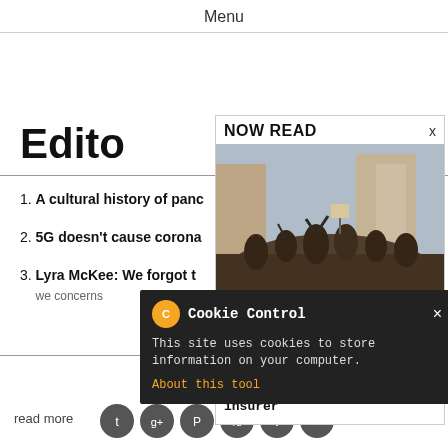Menu
Edito
1. A cultural history of panc
2. 5G doesn't cause corona
3. Lyra McKee: We forgot t we concerns
Relat Osts
read more
[Figure (screenshot): NOW READ panel showing: header 'NOW READ' with X close button, photo of a crowd protest scene, category 'Society', author 'Ian Lewis', article title 'How close are we to climate chaos? Very, says leading insurer']
[Figure (screenshot): Cookie Control popup with orange gear icon, title 'Cookie Control', X close button, body text 'This site uses cookies to store information on your computer.', and 'About this tool' link in orange]
[Figure (screenshot): Social sharing icons row: Twitter, Google+, Pinterest, Reddit, Pocket, Email - all in dark grey circles]